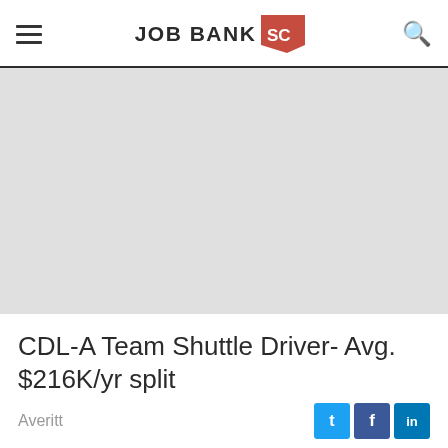JOB BANK SC
[Figure (photo): Gray placeholder image area for job listing]
CDL-A Team Shuttle Driver- Avg. $216K/yr split
Averitt